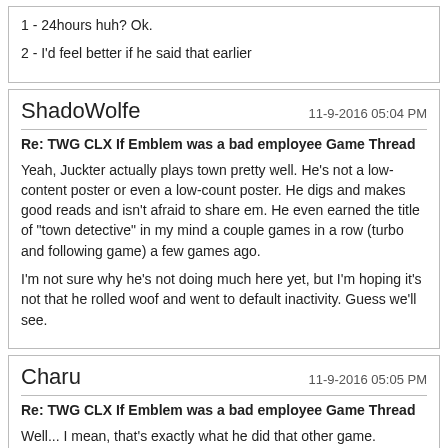1 - 24hours huh? Ok.
2 - I'd feel better if he said that earlier
ShadoWolfe
11-9-2016 05:04 PM
Re: TWG CLX If Emblem was a bad employee Game Thread
Yeah, Juckter actually plays town pretty well. He's not a low-content poster or even a low-count poster. He digs and makes good reads and isn't afraid to share em. He even earned the title of "town detective" in my mind a couple games in a row (turbo and following game) a few games ago.

I'm not sure why he's not doing much here yet, but I'm hoping it's not that he rolled woof and went to default inactivity. Guess we'll see.
Charu
11-9-2016 05:05 PM
Re: TWG CLX If Emblem was a bad employee Game Thread
Well... I mean, that's exactly what he did that other game.
ShadoWolfe
11-9-2016 05:10 PM